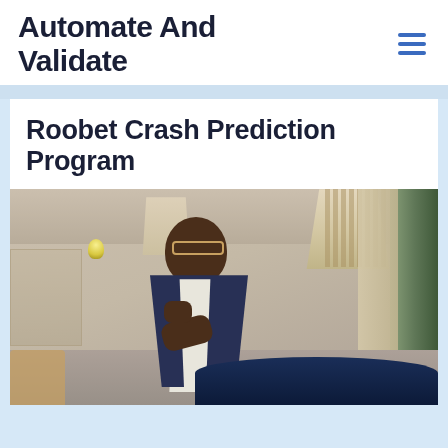Automate And Validate
Roobet Crash Prediction Program
[Figure (photo): A young Black man wearing glasses and a blue vest over a white shirt, sitting thoughtfully with his hand on his chin, in an elegant casino or hotel lounge setting with chandeliers and green curtains, a roulette table visible in the background.]